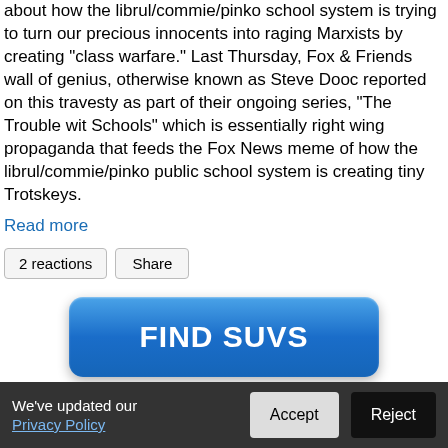about how the librul/commie/pinko school system is trying to turn our precious innocents into raging Marxists by creating "class warfare." Last Thursday, Fox & Friends wall of genius, otherwise known as Steve Doocy reported on this travesty as part of their ongoing series, "The Trouble with Schools" which is essentially right wing propaganda that feeds the Fox News meme of how the librul/commie/pinko public school system is creating tiny Trotskeys.
Read more
2 reactions  Share
[Figure (other): Blue button advertisement reading FIND SUVS]
Brad Stine Gets A Haircut And It Doesn't Help
We've updated our Privacy Policy.  Accept  Reject